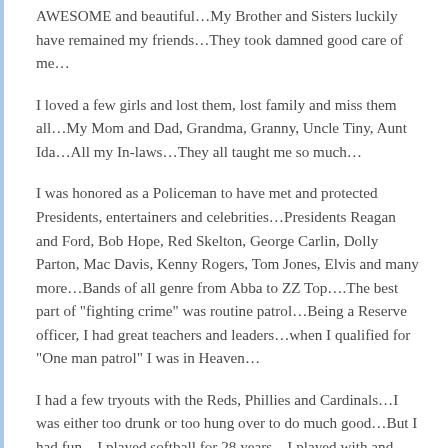AWESOME and beautiful…My Brother and Sisters luckily have remained my friends…They took damned good care of me…
I loved a few girls and lost them, lost family and miss them all…My Mom and Dad, Grandma, Granny, Uncle Tiny, Aunt Ida…All my In-laws…They all taught me so much…
I was honored as a Policeman to have met and protected Presidents, entertainers and celebrities…Presidents Reagan and Ford, Bob Hope, Red Skelton, George Carlin, Dolly Parton, Mac Davis, Kenny Rogers, Tom Jones, Elvis and many more…Bands of all genre from Abba to ZZ Top….The best part of "fighting crime" was routine patrol…Being a Reserve officer, I had great teachers and leaders…when I qualified for "One man patrol" I was in Heaven…
I had a few tryouts with the Reds, Phillies and Cardinals…I was either too drunk or too hung over to do much good…But I had fun…I played softball for 28 years…I played with and against